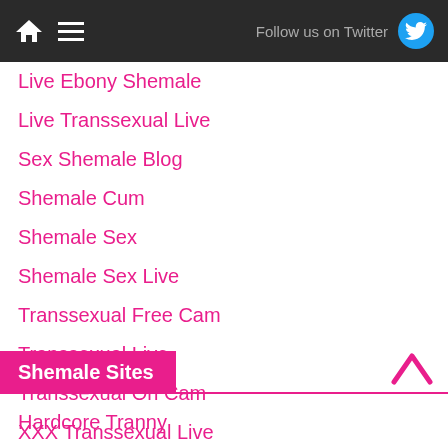Follow us on Twitter
Live Ebony Shemale
Live Transsexual Live
Sex Shemale Blog
Shemale Cum
Shemale Sex
Shemale Sex Live
Transsexual Free Cam
Transsexual Live
Transsexual On Cam
XXX Transsexual Live
Shemale Sites
Hardcore Tranny